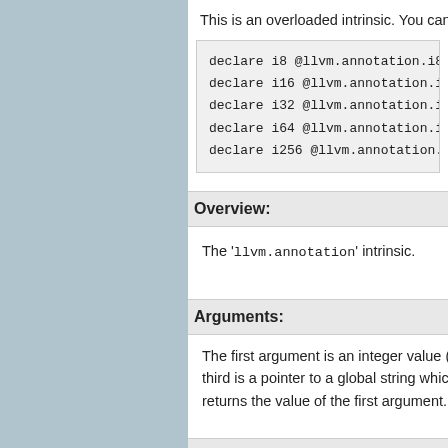This is an overloaded intrinsic. You can use 'llvm.anno…
declare i8 @llvm.annotation.i8(i8 <val>, i8…
declare i16 @llvm.annotation.i16(i16 <val>,…
declare i32 @llvm.annotation.i32(i32 <val>,…
declare i64 @llvm.annotation.i64(i64 <val>,…
declare i256 @llvm.annotation.i256(i256 <va…
Overview:
The 'llvm.annotation' intrinsic.
Arguments:
The first argument is an integer value (result of some ex… third is a pointer to a global string which is the source file… returns the value of the first argument.
Semantics:
This intrinsic allows annotations to be put on arbitrary ex… special purpose optimizations that want to look for these… igned by close annotations and optimizations